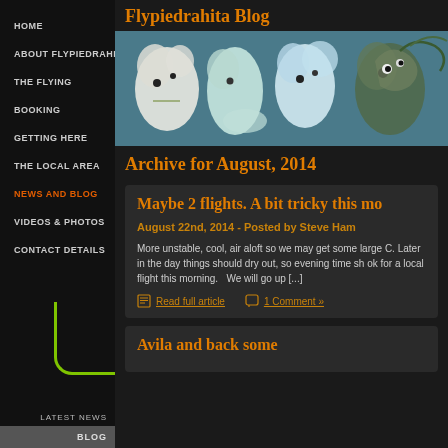Flypiedrahita Blog
[Figure (photo): Decorative header banner showing stylized letters F, L, Y, P made of clouds and creatures on a teal background]
Archive for August, 2014
Maybe 2 flights. A bit tricky this mo
August 22nd, 2014 - Posted by Steve Ham
More unstable, cool, air aloft so we may get some large C. Later in the day things should dry out, so evening time sh ok for a local flight this morning.   We will go up [...]
Read full article    1 Comment »
Avila and back some
HOME
ABOUT FLYPIEDRAHITA
THE FLYING
BOOKING
GETTING HERE
THE LOCAL AREA
NEWS and BLOG
VIDEOS & PHOTOS
CONTACT DETAILS
LATEST NEWS
BLOG